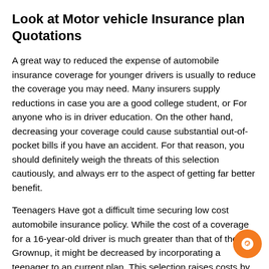Look at Motor vehicle Insurance plan Quotations
A great way to reduced the expense of automobile insurance coverage for younger drivers is usually to reduce the coverage you may need. Many insurers supply reductions in case you are a good college student, or For anyone who is in driver education. On the other hand, decreasing your coverage could cause substantial out-of-pocket bills if you have an accident. For that reason, you should definitely weigh the threats of this selection cautiously, and always err to the aspect of getting far better benefit.
Teenagers Have got a difficult time securing low cost automobile insurance policy. While the cost of a coverage for a 16-year-old driver is much greater than that of the Grownup, it might be decreased by incorporating a teenager to an current plan. This selection raises costs by a median of $one,461 a 12 months, but is frequently more affordable than acquiring a different plan. Moreover, if a close...